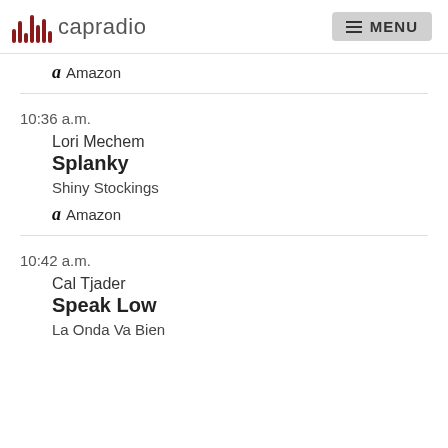capradio | MENU
Amazon
10:36 a.m.
Lori Mechem
Splanky
Shiny Stockings
Amazon
10:42 a.m.
Cal Tjader
Speak Low
La Onda Va Bien